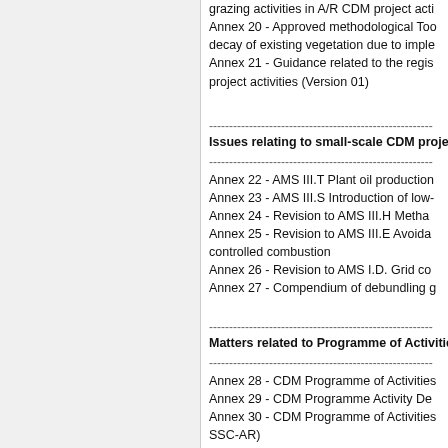grazing activities in A/R CDM project acti...
Annex 20 - Approved methodological Too...
decay of existing vegetation due to imple...
Annex 21 - Guidance related to the regis...
project activities (Version 01)
Issues relating to small-scale CDM proje...
Annex 22 - AMS III.T Plant oil production...
Annex 23 - AMS III.S Introduction of low-...
Annex 24 - Revision to AMS III.H Metha...
Annex 25 - Revision to AMS III.E Avoidan...
controlled combustion
Annex 26 - Revision to AMS I.D. Grid co...
Annex 27 - Compendium of debundling g...
Matters related to Programme of Activitie...
Annex 28 - CDM Programme of Activities...
Annex 29 - CDM Programme Activity De...
Annex 30 - CDM Programme of Activities...
SSC-AR)
Annex 31 - CDM Programme Activity De...
SSC-AR)
Annex 32 - CDM Glossary of Terms (CDM...